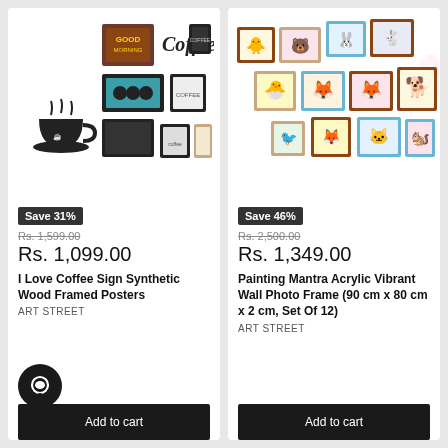[Figure (photo): I Love Coffee Sign Synthetic Wood Framed Posters product image - a collage of black-framed coffee-themed wall art posters]
Save 31%
Rs. 1,599.00 (strikethrough)
Rs. 1,099.00
I Love Coffee Sign Synthetic Wood Framed Posters
ART STREET
Add to cart
[Figure (photo): Painting Mantra Acrylic Vibrant Wall Photo Frame product image - a collage of colorful animal cartoon framed pictures]
Save 46%
Rs. 2,500.00 (strikethrough)
Rs. 1,349.00
Painting Mantra Acrylic Vibrant Wall Photo Frame (90 cm x 80 cm x 2 cm, Set Of 12)
ART STREET
Add to cart